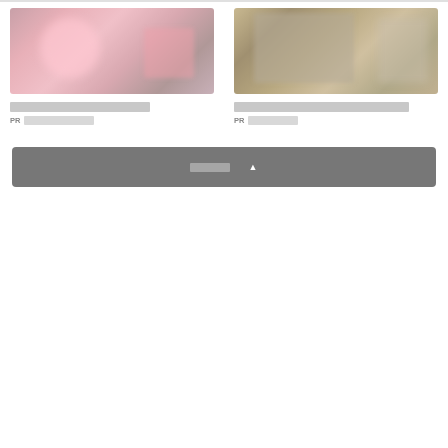[Figure (photo): Photo of pink cosmetic product in packaging, blurred/obscured]
[obscured Japanese text title for left card]
PR [obscured Japanese text]
[Figure (photo): Photo of Japanese food products in a box, blurred/obscured]
[obscured Japanese text title for right card]
PR [obscured Japanese text]
もっと見る ▲